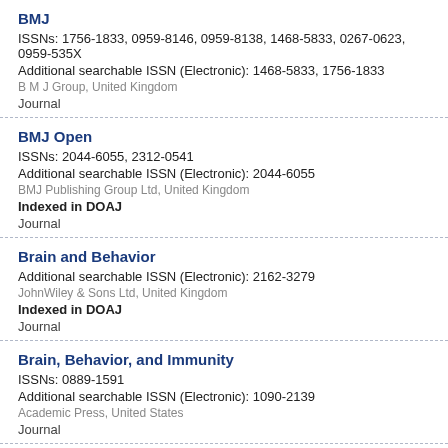BMJ
ISSNs: 1756-1833, 0959-8146, 0959-8138, 1468-5833, 0267-0623, 0959-535X
Additional searchable ISSN (Electronic): 1468-5833, 1756-1833
B M J Group, United Kingdom
Journal
BMJ Open
ISSNs: 2044-6055, 2312-0541
Additional searchable ISSN (Electronic): 2044-6055
BMJ Publishing Group Ltd, United Kingdom
Indexed in DOAJ
Journal
Brain and Behavior
Additional searchable ISSN (Electronic): 2162-3279
JohnWiley & Sons Ltd, United Kingdom
Indexed in DOAJ
Journal
Brain, Behavior, and Immunity
ISSNs: 0889-1591
Additional searchable ISSN (Electronic): 1090-2139
Academic Press, United States
Journal
Brain Stimulation
ISSNs: 1935-861X